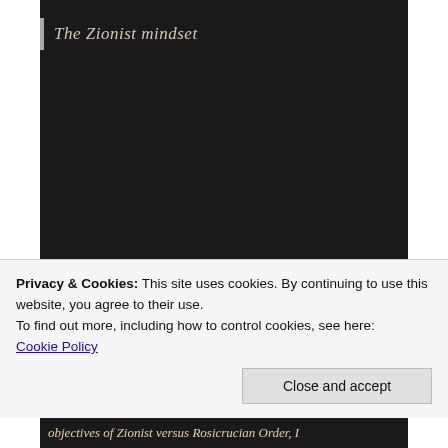The Zionist mindset
[Figure (photo): Book cover image with the word YESHUA in large serif text on a parchment-style background with a lamb illustration at the bottom]
Before I give a bri
Privacy & Cookies: This site uses cookies. By continuing to use this website, you agree to their use.
To find out more, including how to control cookies, see here:
Cookie Policy

Close and accept
objectives of Zionist versus Rosicrucian Order, I